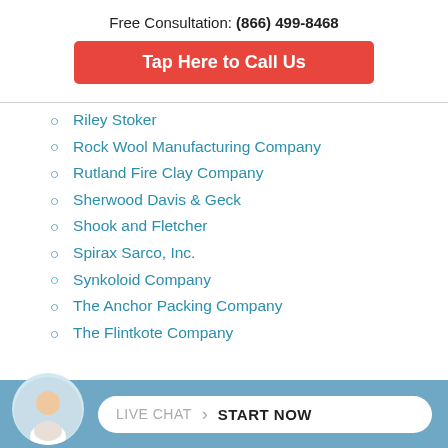Free Consultation: (866) 499-8468
Tap Here to Call Us
Riley Stoker
Rock Wool Manufacturing Company
Rutland Fire Clay Company
Sherwood Davis & Geck
Shook and Fletcher
Spirax Sarco, Inc.
Synkoloid Company
The Anchor Packing Company
The Flintkote Company
LIVE CHAT  START NOW